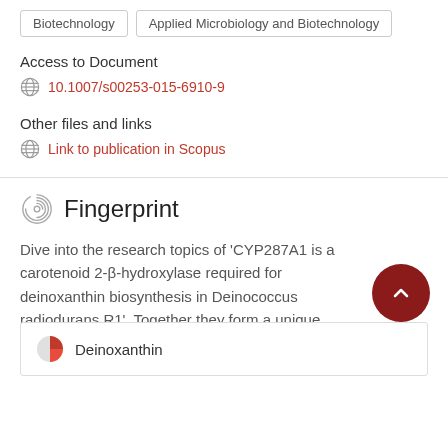Biotechnology
Applied Microbiology and Biotechnology
Access to Document
10.1007/s00253-015-6910-9
Other files and links
Link to publication in Scopus
Fingerprint
Dive into the research topics of 'CYP287A1 is a carotenoid 2-β-hydroxylase required for deinoxanthin biosynthesis in Deinococcus radiodurans R1'. Together they form a unique fingerprint.
Deinoxanthin